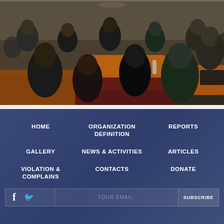[Figure (photo): Conference or dining event photo showing multiple people seated at tables with orange tablecloths in a restaurant or banquet hall setting. A projector is visible on one of the tables.]
HOME
ORGANIZATION DEFINITION
REPORTS
GALLERY
NEWS & ACTIVITIES
ARTICLES
VIOLATION & COMPLAINS
CONTACTS
DONATE
YOUR EMAIL:
SUBSCRIBE